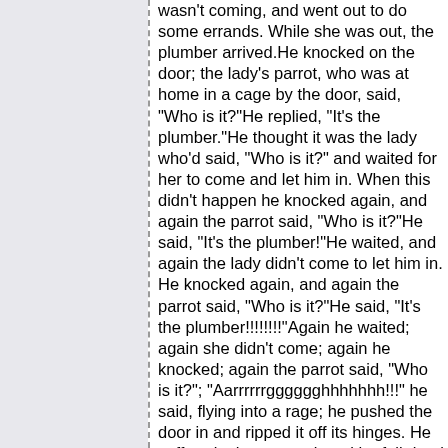wasn't coming, and went out to do some errands. While she was out, the plumber arrived.He knocked on the door; the lady's parrot, who was at home in a cage by the door, said, "Who is it?"He replied, "It's the plumber."He thought it was the lady who'd said, "Who is it?" and waited for her to come and let him in. When this didn't happen he knocked again, and again the parrot said, "Who is it?"He said, "It's the plumber!"He waited, and again the lady didn't come to let him in. He knocked again, and again the parrot said, "Who is it?"He said, "It's the plumber!!!!!!!!"Again he waited; again she didn't come; again he knocked; again the parrot said, "Who is it?"; "Aarrrrrrgggggghhhhhhh!!!" he said, flying into a rage; he pushed the door in and ripped it off its hinges. He suffered a heart attack and he fell dead in the doorway.The lady came home from her errands, only to see the door ripped off its hinges and a corpse lying in the doorway, "A dead body!" she exclaimed, "Who is it?!"The parrot said, "It's the